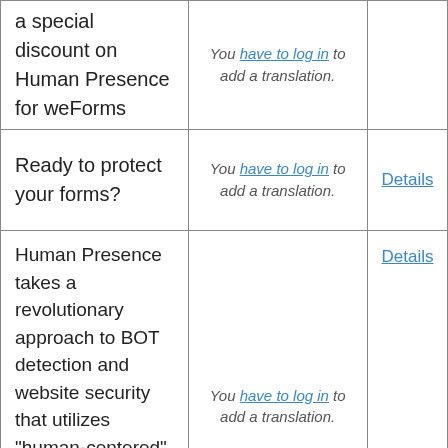| a special discount on Human Presence for weForms | You have to log in to add a translation. |  |
| Ready to protect your forms? | You have to log in to add a translation. | Details |
| Human Presence takes a revolutionary approach to BOT detection and website security that utilizes "human-centered" learning algorithms to protect against suspicious activity. | You have to log in to add a translation. | Details |
| Human Presence | You have to log in to add a translation. | Details |